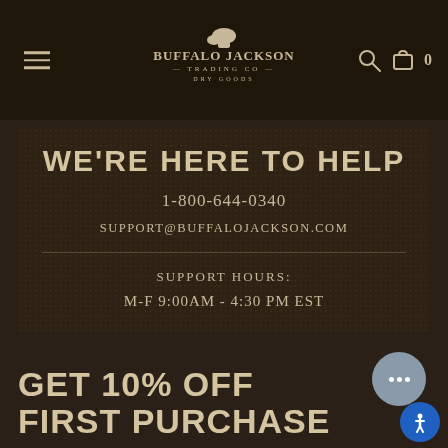Buffalo Jackson Trading Co. Dry Goods — Navigation bar with hamburger menu, logo, search and cart icons
WE'RE HERE TO HELP
1-800-644-0340
SUPPORT@BUFFALOJACKSON.COM
SUPPORT HOURS:
M-F 9:00AM - 4:30 PM EST
GET 10% OFF FIRST PURCHASE